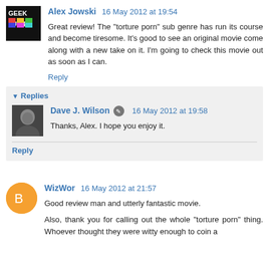Alex Jowski 16 May 2012 at 19:54
Great review! The "torture porn" sub genre has run its course and become tiresome. It's good to see an original movie come along with a new take on it. I'm going to check this movie out as soon as I can.
Reply
Replies
Dave J. Wilson 16 May 2012 at 19:58
Thanks, Alex. I hope you enjoy it.
Reply
WizWor 16 May 2012 at 21:57
Good review man and utterly fantastic movie.
Also, thank you for calling out the whole "torture porn" thing. Whoever thought they were witty enough to coin a